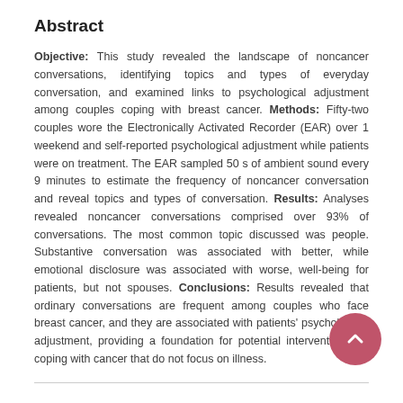Abstract
Objective: This study revealed the landscape of noncancer conversations, identifying topics and types of everyday conversation, and examined links to psychological adjustment among couples coping with breast cancer. Methods: Fifty-two couples wore the Electronically Activated Recorder (EAR) over 1 weekend and self-reported psychological adjustment while patients were on treatment. The EAR sampled 50 s of ambient sound every 9 minutes to estimate the frequency of noncancer conversation and reveal topics and types of conversation. Results: Analyses revealed noncancer conversations comprised over 93% of conversations. The most common topic discussed was people. Substantive conversation was associated with better, while emotional disclosure was associated with worse, well-being for patients, but not spouses. Conclusions: Results revealed that ordinary conversations are frequent among couples who face breast cancer, and they are associated with patients' psychological adjustment, providing a foundation for potential interventions for coping with cancer that do not focus on illness.